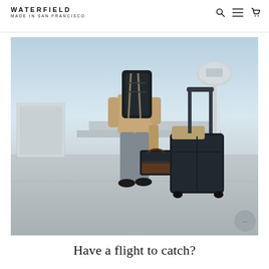WATERFIELD
MADE IN SAN FRANCISCO
[Figure (photo): A man seen from behind standing at an airport tarmac area, carrying a large black backpack, a briefcase with brown leather accents in his right hand, and pulling a wheeled black luggage. An airport control tower is visible in the background under a clear blue sky.]
Have a flight to catch?